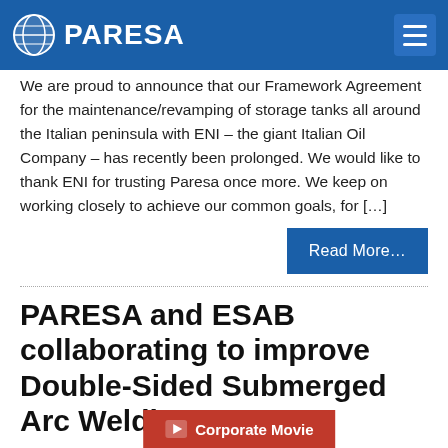PARESA
We are proud to announce that our Framework Agreement for the maintenance/revamping of storage tanks all around the Italian peninsula with ENI – the giant Italian Oil Company – has recently been prolonged. We would like to thank ENI for trusting Paresa once more. We keep on working closely to achieve our common goals, for […]
Read More…
PARESA and ESAB collaborating to improve Double-Sided Submerged Arc Welding…
Corporate Movie